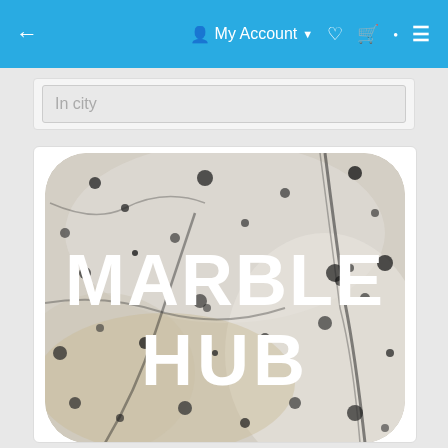← My Account ♥ 🛒 ≡
In city
[Figure (logo): Marble Hub app logo: rounded square with marble stone texture background (white/gray/black speckled granite) and large white bold text reading 'MARBLE HUB']